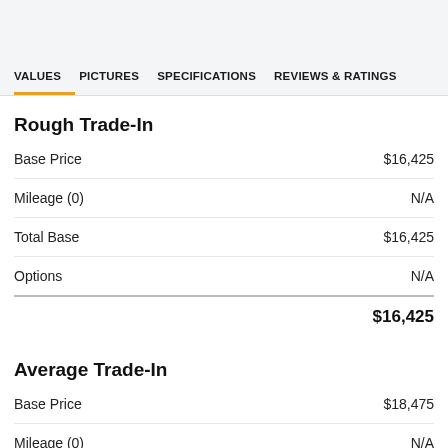VALUES  PICTURES  SPECIFICATIONS  REVIEWS & RATINGS
Rough Trade-In
|  |  |
| --- | --- |
| Base Price | $16,425 |
| Mileage (0) | N/A |
| Total Base | $16,425 |
| Options | N/A |
|  | $16,425 |
Average Trade-In
|  |  |
| --- | --- |
| Base Price | $18,475 |
| Mileage (0) | N/A |
| Total Base | $18,475 |